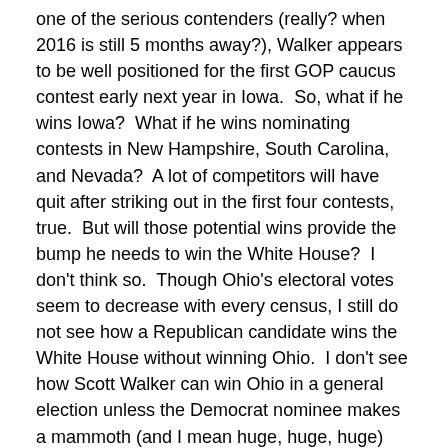one of the serious contenders (really? when 2016 is still 5 months away?), Walker appears to be well positioned for the first GOP caucus contest early next year in Iowa.  So, what if he wins Iowa?  What if he wins nominating contests in New Hampshire, South Carolina, and Nevada?  A lot of competitors will have quit after striking out in the first four contests, true.  But will those potential wins provide the bump he needs to win the White House?  I don't think so.  Though Ohio's electoral votes seem to decrease with every census, I still do not see how a Republican candidate wins the White House without winning Ohio.  I don't see how Scott Walker can win Ohio in a general election unless the Democrat nominee makes a mammoth (and I mean huge, huge, huge) blunder.
It is conceivable, however unlikely, that Walker could win a